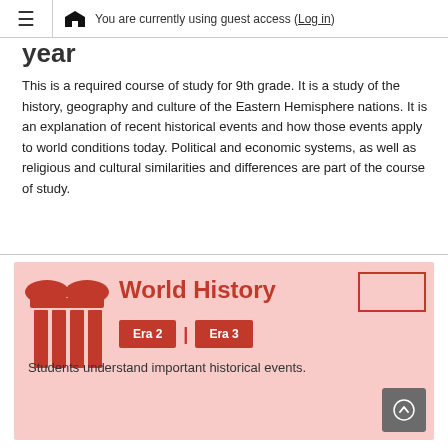≡ [map icon] You are currently using guest access (Log in)
year
This is a required course of study for 9th grade. It is a study of the history, geography and culture of the Eastern Hemisphere nations. It is an explanation of recent historical events and how those events apply to world conditions today. Political and economic systems, as well as religious and cultural similarities and differences are part of the course of study.
[Figure (infographic): World History course card with red Greek column pillar icon, title 'World History', Era 2 and Era 3 red buttons, and text 'Students understand important historical events.']